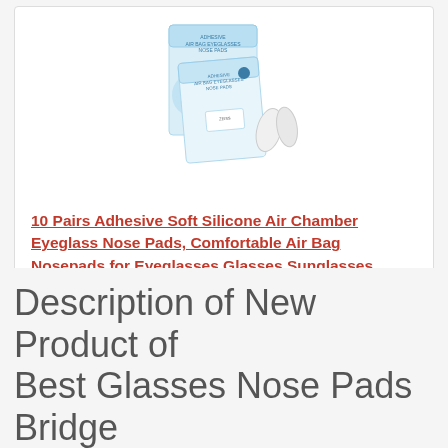[Figure (photo): Product photo of Adhesive Air Chamber Eyeglass Nose Pads box with silicone nose pads displayed in front]
10 Pairs Adhesive Soft Silicone Air Chamber Eyeglass Nose Pads, Comfortable Air Bag Nosepads for Eyeglasses Glasses Sunglasses, 2mm
$10.99 Prime
Buy on Amazon
Description of New Product of Best Glasses Nose Pads Bridge